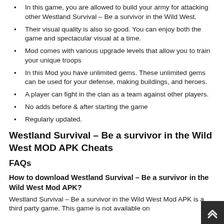In this game, you are allowed to build your army for attacking other Westland Survival – Be a survivor in the Wild West.
Their visual quality is also so good. You can enjoy both the game and spectacular visual at a time.
Mod comes with various upgrade levels that allow you to train your unique troops
In this Mod you have unlimited gems. These unlimited gems can be used for your defense, making buildings, and heroes.
A player can fight in the clan as a team against other players.
No adds before & after starting the game
Regularly updated.
Westland Survival – Be a survivor in the Wild West MOD APK Cheats
FAQs
How to download Westland Survival – Be a survivor in the Wild West Mod APK?
Westland Survival – Be a survivor in the Wild West Mod APK is a third party game. This game is not available on